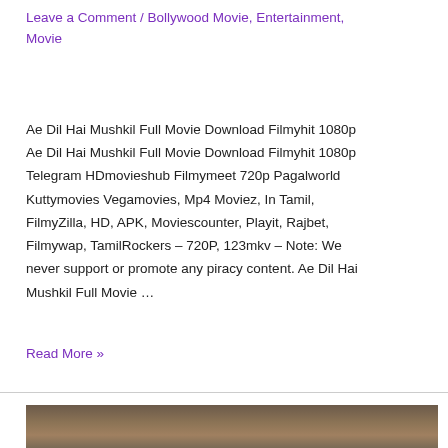Leave a Comment / Bollywood Movie, Entertainment, Movie
Ae Dil Hai Mushkil Full Movie Download Filmyhit 1080p Ae Dil Hai Mushkil Full Movie Download Filmyhit 1080p Telegram HDmovieshub Filmymeet 720p Pagalworld Kuttymovies Vegamovies, Mp4 Moviez, In Tamil, FilmyZilla, HD, APK, Moviescounter, Playit, Rajbet, Filmywap, TamilRockers – 720P, 123mkv – Note: We never support or promote any piracy content. Ae Dil Hai Mushkil Full Movie …
Read More »
[Figure (photo): Partial photo of two people (actors), cropped showing tops of heads]